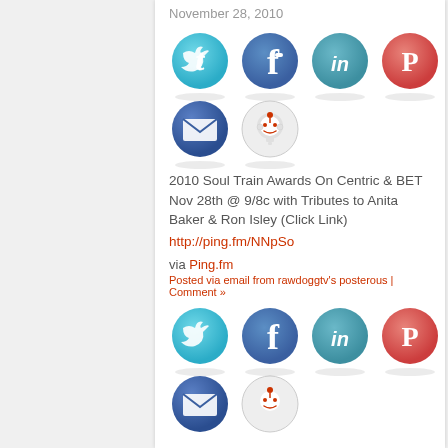November 28, 2010
[Figure (illustration): Row of social media icon buttons: Twitter (cyan), Facebook (blue), LinkedIn (teal), Pinterest (red/white)]
[Figure (illustration): Row of social media icon buttons: Email (dark blue), Reddit (white/grey)]
2010 Soul Train Awards On Centric & BET Nov 28th @ 9/8c with Tributes to Anita Baker & Ron Isley (Click Link)
http://ping.fm/NNpSo
via Ping.fm
Posted via email from rawdoggtv's posterous | Comment »
[Figure (illustration): Row of social media icon buttons: Twitter (cyan), Facebook (blue), LinkedIn (teal), Pinterest (red/white)]
[Figure (illustration): Row of social media icon buttons: Email (dark blue), Reddit (white/grey) - partially visible]